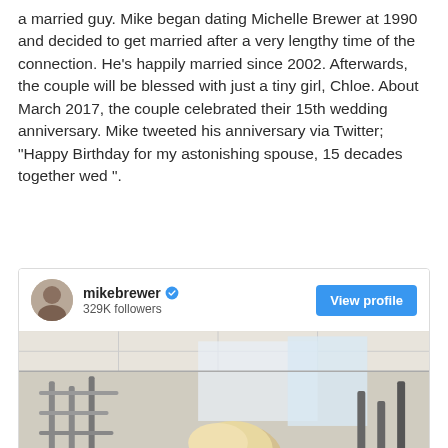a married guy. Mike began dating Michelle Brewer at 1990 and decided to get married after a very lengthy time of the connection. He's happily married since 2002. Afterwards, the couple will be blessed with just a tiny girl, Chloe. About March 2017, the couple celebrated their 15th wedding anniversary. Mike tweeted his anniversary via Twitter; "Happy Birthday for my astonishing spouse, 15 decades together wed ".
[Figure (screenshot): Instagram profile widget for mikebrewer with verified badge, 329K followers, a 'View profile' blue button, and a photo of a man in what appears to be a gym with mirrors.]